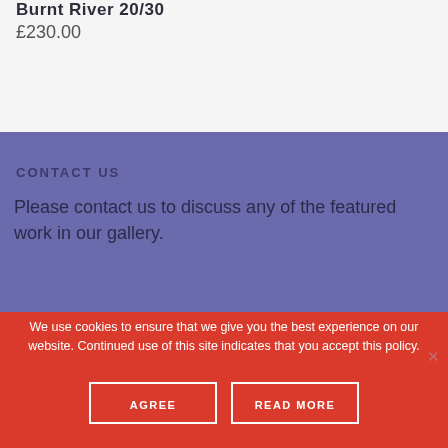Burnt River 20/30
£230.00
CONTACT US
Please contact us to discuss any of the featured work in our gallery.
We use cookies to ensure that we give you the best experience on our website. Continued use of this site indicates that you accept this policy.
AGREE
READ MORE